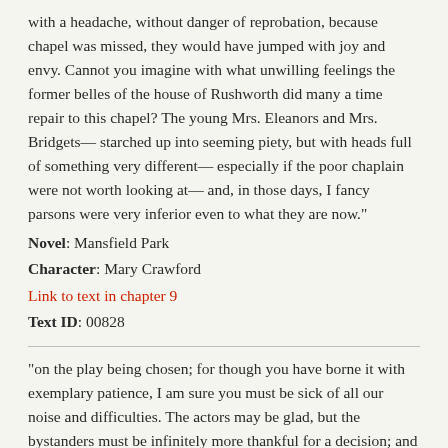with a headache, without danger of reprobation, because chapel was missed, they would have jumped with joy and envy. Cannot you imagine with what unwilling feelings the former belles of the house of Rushworth did many a time repair to this chapel? The young Mrs. Eleanors and Mrs. Bridgets— starched up into seeming piety, but with heads full of something very different— especially if the poor chaplain were not worth looking at— and, in those days, I fancy parsons were very inferior even to what they are now."
Novel: Mansfield Park
Character: Mary Crawford
Link to text in chapter 9
Text ID: 00828
"on the play being chosen; for though you have borne it with exemplary patience, I am sure you must be sick of all our noise and difficulties. The actors may be glad, but the bystanders must be infinitely more thankful for a decision; and I do sincerely give you joy, madam, as well as Mrs. Norris, and everybody else who is in the same predicament,"